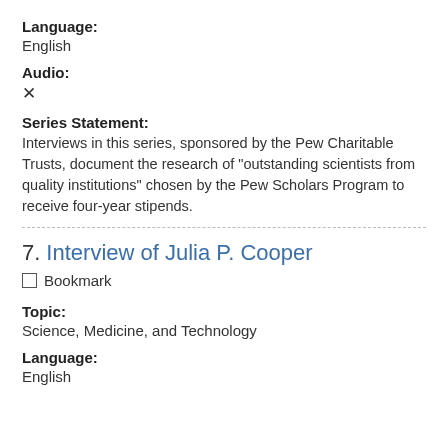Language:
English
Audio:
✕
Series Statement: Interviews in this series, sponsored by the Pew Charitable Trusts, document the research of "outstanding scientists from quality institutions" chosen by the Pew Scholars Program to receive four-year stipends.
7. Interview of Julia P. Cooper
Bookmark
Topic:
Science, Medicine, and Technology
Language:
English